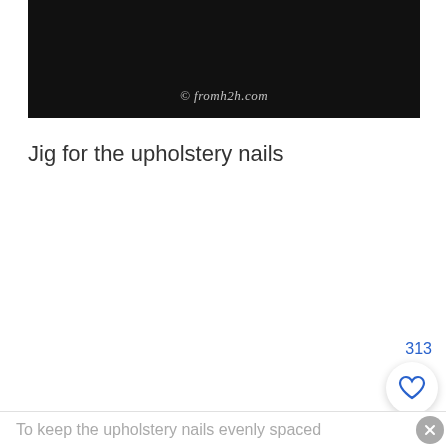[Figure (photo): Dark/black background photo with watermark text '© fromh2h.com' in italic script font, centered near the bottom of the image.]
Jig for the upholstery nails
313
To keep the upholstery nails evenly spaced